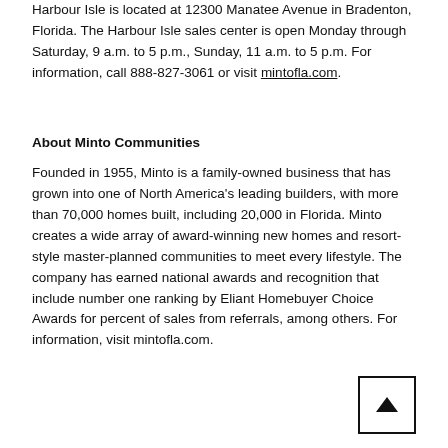Harbour Isle is located at 12300 Manatee Avenue in Bradenton, Florida. The Harbour Isle sales center is open Monday through Saturday, 9 a.m. to 5 p.m., Sunday, 11 a.m. to 5 p.m. For information, call 888-827-3061 or visit mintofla.com.
About Minto Communities
Founded in 1955, Minto is a family-owned business that has grown into one of North America's leading builders, with more than 70,000 homes built, including 20,000 in Florida. Minto creates a wide array of award-winning new homes and resort-style master-planned communities to meet every lifestyle. The company has earned national awards and recognition that include number one ranking by Eliant Homebuyer Choice Awards for percent of sales from referrals, among others. For information, visit mintofla.com.